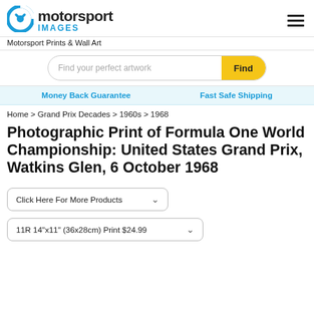motorsport IMAGES
Motorsport Prints & Wall Art
Find your perfect artwork  Find
Money Back Guarantee   Fast Safe Shipping
Home > Grand Prix Decades > 1960s > 1968
Photographic Print of Formula One World Championship: United States Grand Prix, Watkins Glen, 6 October 1968
Click Here For More Products
11R 14"x11" (36x28cm) Print $24.99